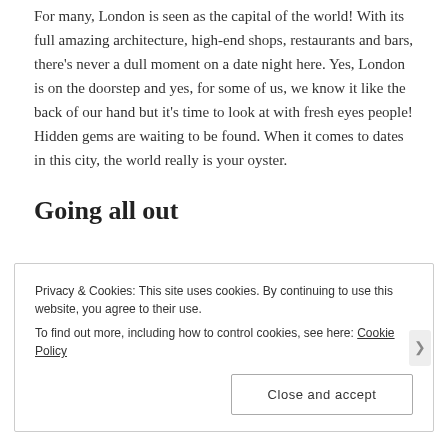For many, London is seen as the capital of the world! With its full amazing architecture, high-end shops, restaurants and bars, there's never a dull moment on a date night here. Yes, London is on the doorstep and yes, for some of us, we know it like the back of our hand but it's time to look at with fresh eyes people! Hidden gems are waiting to be found. When it comes to dates in this city, the world really is your oyster.
Going all out
Privacy & Cookies: This site uses cookies. By continuing to use this website, you agree to their use.
To find out more, including how to control cookies, see here: Cookie Policy